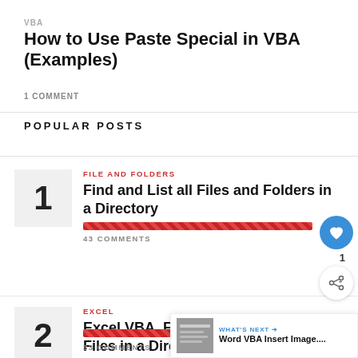VBA
How to Use Paste Special in VBA (Examples)
1 COMMENT
POPULAR POSTS
FILE AND FOLDERS
Find and List all Files and Folders in a Directory
43 COMMENTS
EXCEL
Excel VBA, Find and List All Files in a Directory and its Subdirec...
33 COMMENTS